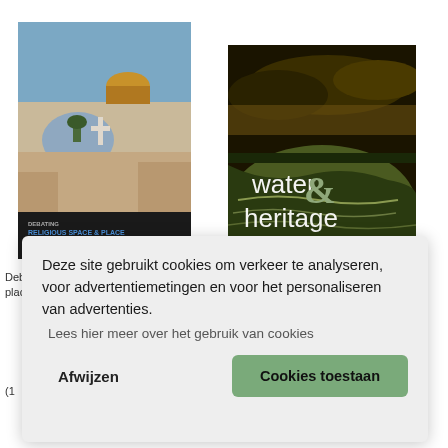[Figure (photo): Book cover: 'Debating Religious Space & Place in the Early Medieval World' — aerial view of Jerusalem with the Dome of the Rock and church domes]
[Figure (photo): Book cover: 'Water & Heritage: material, conceptual and...' — landscape photograph of rice terraces under dramatic stormy sky]
Deb[ating religious space &]
place[...]
(...)
Deze site gebruikt cookies om verkeer te analyseren, voor advertentiemetingen en voor het personaliseren van advertenties.
Lees hier meer over het gebruik van cookies
Afwijzen
Cookies toestaan